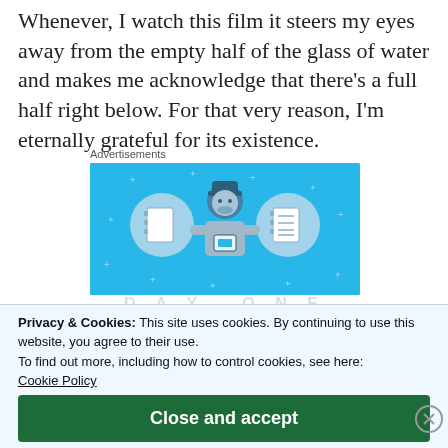Whenever, I watch this film it steers my eyes away from the empty half of the glass of water and makes me acknowledge that there's a full half right below. For that very reason, I'm eternally grateful for its existence.
Advertisements
[Figure (illustration): Advertisement banner with light blue background showing an illustrated person holding a phone, flanked by two circular icons containing notebook images. 'DAY ONE journaling' overlay text watermark visible.]
Privacy & Cookies: This site uses cookies. By continuing to use this website, you agree to their use.
To find out more, including how to control cookies, see here:
Cookie Policy
Close and accept